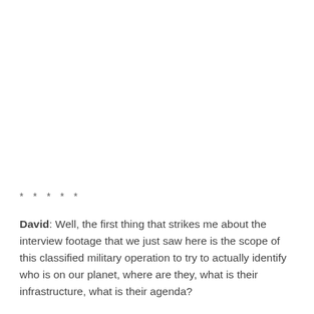* * * * *
David: Well, the first thing that strikes me about the interview footage that we just saw here is the scope of this classified military operation to try to actually identify who is on our planet, where are they, what is their infrastructure, what is their agenda?